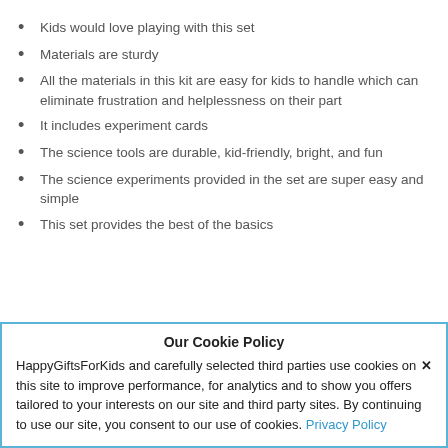Kids would love playing with this set
Materials are sturdy
All the materials in this kit are easy for kids to handle which can eliminate frustration and helplessness on their part
It includes experiment cards
The science tools are durable, kid-friendly, bright, and fun
The science experiments provided in the set are super easy and simple
This set provides the best of the basics
Our Cookie Policy
HappyGiftsForKids and carefully selected third parties use cookies on this site to improve performance, for analytics and to show you offers tailored to your interests on our site and third party sites. By continuing to use our site, you consent to our use of cookies. Privacy Policy